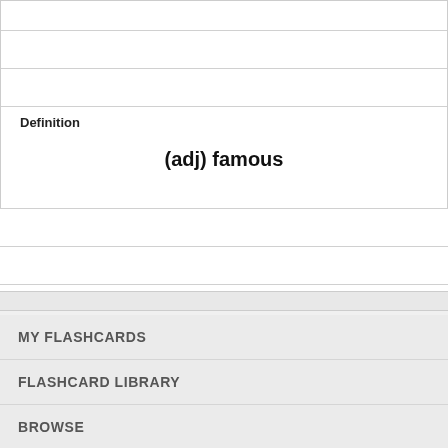Definition
(adj) famous
MY FLASHCARDS
FLASHCARD LIBRARY
BROWSE